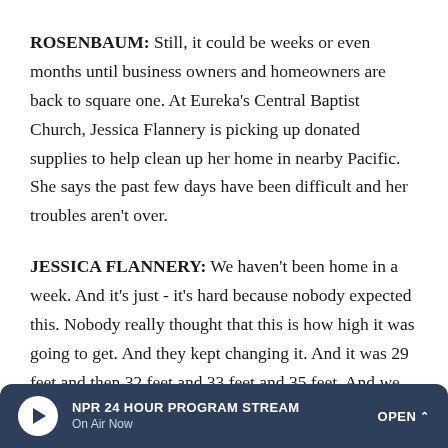ROSENBAUM: Still, it could be weeks or even months until business owners and homeowners are back to square one. At Eureka's Central Baptist Church, Jessica Flannery is picking up donated supplies to help clean up her home in nearby Pacific. She says the past few days have been difficult and her troubles aren't over.
JESSICA FLANNERY: We haven't been home in a week. And it's just - it's hard because nobody expected this. Nobody really thought that this is how high it was going to get. And they kept changing it. And it was 29 feet and then 32 feet and 33 feet and 35 feet. And we just weren't able to prepare.
NPR 24 HOUR PROGRAM STREAM On Air Now OPEN